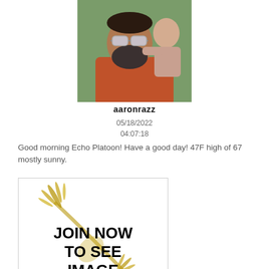[Figure (photo): Profile photo of a man with beard and sunglasses wearing an orange shirt, holding a young child. Photo has a green outdoor background.]
aaronrazz
05/18/2022
04:07:18
Good morning Echo Platoon! Have a good day! 47F high of 67 mostly sunny.
[Figure (illustration): Image placeholder with decorative gold/brown feather or lizard illustration and bold text reading JOIN NOW TO SEE IMAGE]